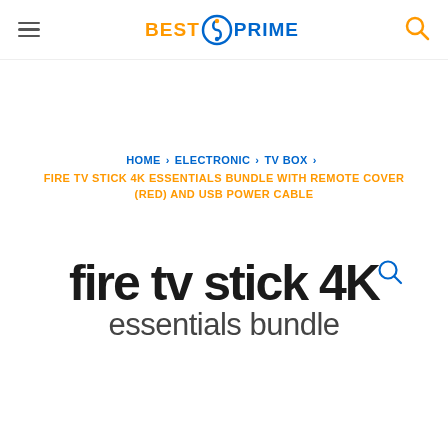BEST O PRIME [navigation header with logo]
HOME > ELECTRONIC > TV BOX > FIRE TV STICK 4K ESSENTIALS BUNDLE WITH REMOTE COVER (RED) AND USB POWER CABLE
[Figure (other): Fire TV Stick 4K Essentials Bundle product image area showing the product text logo: 'fire tv stick 4K essentials bundle' in large bold sans-serif text with a search icon]